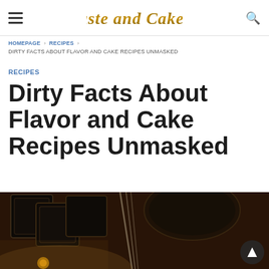Taste and Cakery
HOMEPAGE › RECIPES › DIRTY FACTS ABOUT FLAVOR AND CAKE RECIPES UNMASKED
RECIPES
Dirty Facts About Flavor and Cake Recipes Unmasked
[Figure (photo): Dark overhead photo of chocolate cake baking equipment — square baking pans and mixing tools on a dark background, with a dark circular button with a triangle/play icon in the bottom right corner]